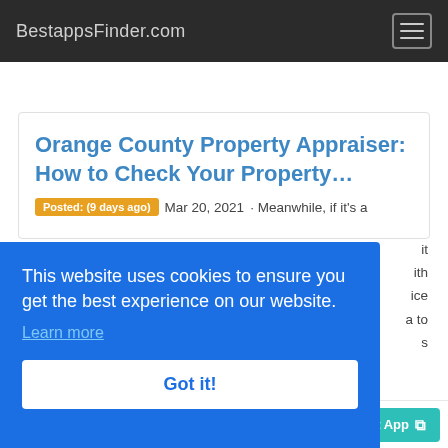BestappsFinder.com
Orange County Property Appraiser: How to Check Your Property…
Posted: (9 days ago)  Mar 20, 2021 · Meanwhile, if it's a
it
ith
ice
a to
s
This website uses cookies to ensure you get the best experience on our website.
Learn more
Got it!